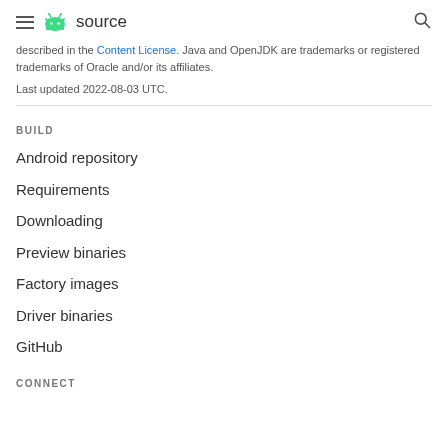source
described in the Content License. Java and OpenJDK are trademarks or registered trademarks of Oracle and/or its affiliates.
Last updated 2022-08-03 UTC.
BUILD
Android repository
Requirements
Downloading
Preview binaries
Factory images
Driver binaries
GitHub
CONNECT